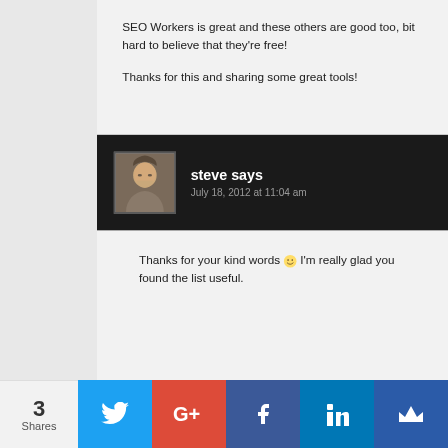SEO Workers is great and these others are good too, bit hard to believe that they're free!
Thanks for this and sharing some great tools!
steve says — July 18, 2012 at 11:04 am
Thanks for your kind words 🙂 I'm really glad you found the list useful.